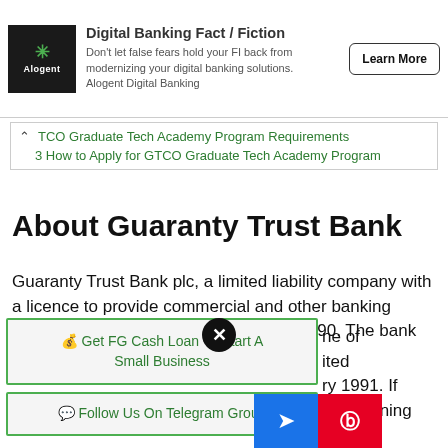[Figure (screenshot): Alogent Digital Banking ad banner with logo, text about Digital Banking Fact/Fiction, and Learn More button]
TCO Graduate Tech Academy Program Requirements
3 How to Apply for GTCO Graduate Tech Academy Program
About Guaranty Trust Bank
Guaranty Trust Bank plc, a limited liability company with a licence to provide commercial and other banking services to Nigerians, was founded in 1990. The bank has grown to become one of ... ited ... ry 1991. If ... ere learning
💰 Get FG Cash Loan To Start A Small Business
💬 Follow Us On Telegram Group